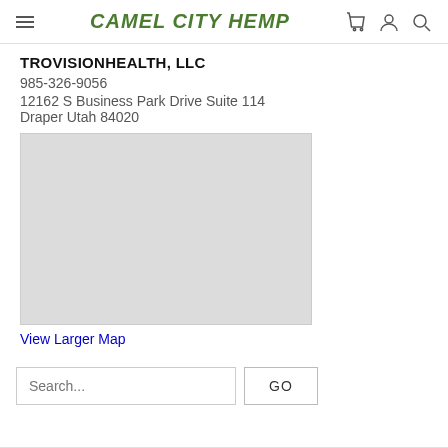CAMEL CITY HEMP
TROVISIONHEALTH, LLC
985-326-9056
12162 S Business Park Drive Suite 114
Draper Utah 84020
[Figure (map): Embedded Google map showing location of 12162 S Business Park Drive Suite 114, Draper Utah 84020]
View Larger Map
Search...
GO